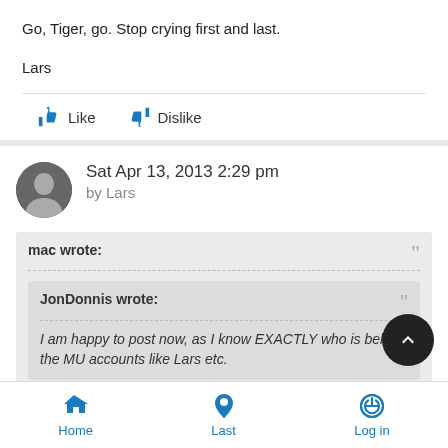Go, Tiger, go. Stop crying first and last.

Lars
[Figure (screenshot): Like and Dislike buttons with thumbs up/down icons]
Sat Apr 13, 2013 2:29 pm
by Lars
mac wrote: (quoted block) JonDonnis wrote: I am happy to post now, as I know EXACTLY who is behind the MU accounts like Lars etc.
Home  Last  Log in